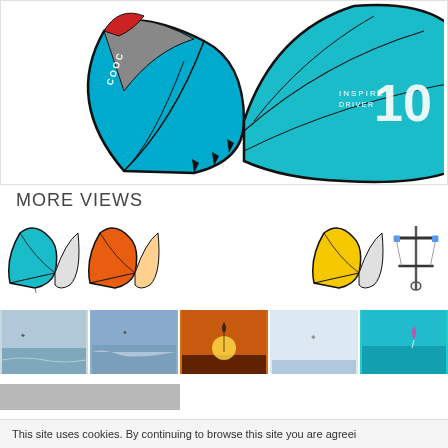[Figure (photo): Large blue kitesurfing kite with black frame, number 10 visible, red accent on top]
MORE VIEWS
[Figure (illustration): Row of kite thumbnails: blue kite, orange kite, gap, yellow kite, control bar]
[Figure (photo): Row of five action photos of kitesurfing in various settings]
This site uses cookies. By continuing to browse this site you are agreei